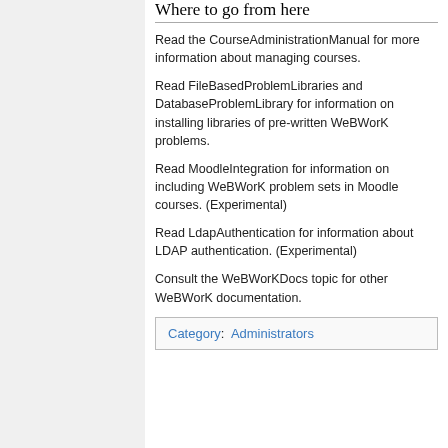Where to go from here
Read the CourseAdministrationManual for more information about managing courses.
Read FileBasedProblemLibraries and DatabaseProblemLibrary for information on installing libraries of pre-written WeBWorK problems.
Read MoodleIntegration for information on including WeBWorK problem sets in Moodle courses. (Experimental)
Read LdapAuthentication for information about LDAP authentication. (Experimental)
Consult the WeBWorKDocs topic for other WeBWorK documentation.
Category:  Administrators